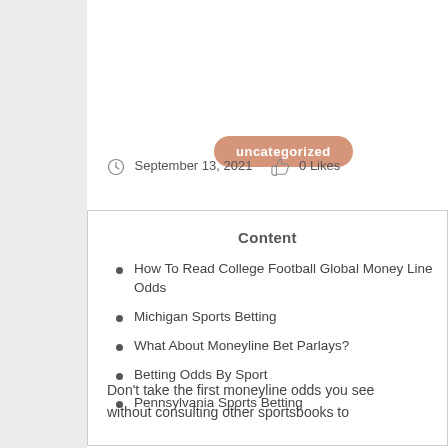uncategorized
September 13, 2021   0 Likes
Content
How To Read College Football Global Money Line Odds
Michigan Sports Betting
What About Moneyline Bet Parlays?
Betting Odds By Sport
Pennsylvania Sports Betting
Don't take the first moneyline odds you see without consulting other sportsbooks to